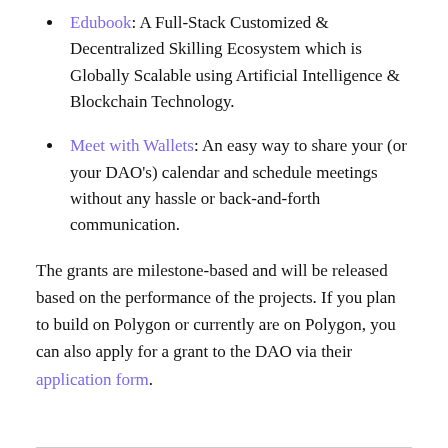Edubook: A Full-Stack Customized & Decentralized Skilling Ecosystem which is Globally Scalable using Artificial Intelligence & Blockchain Technology.
Meet with Wallets: An easy way to share your (or your DAO's) calendar and schedule meetings without any hassle or back-and-forth communication.
The grants are milestone-based and will be released based on the performance of the projects. If you plan to build on Polygon or currently are on Polygon, you can also apply for a grant to the DAO via their application form.